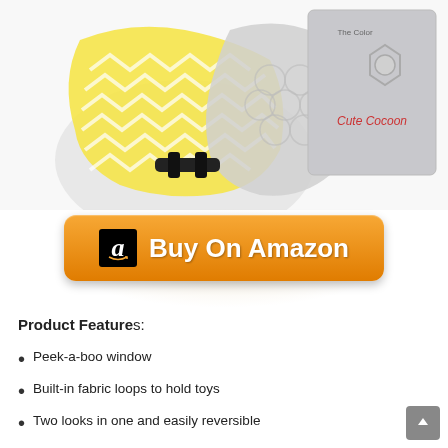[Figure (photo): Product photo of a baby car seat cover with yellow and white chevron pattern and gray hexagon pattern, along with a gray product box labeled 'Cute Cocoon']
[Figure (other): Orange 'Buy On Amazon' button with Amazon logo 'a' icon on black background]
Product Features:
Peek-a-boo window
Built-in fabric loops to hold toys
Two looks in one and easily reversible
Two built-in adjustable elastic clips (front & back)
Exposed handles for a secure grip and converts to a fitted style